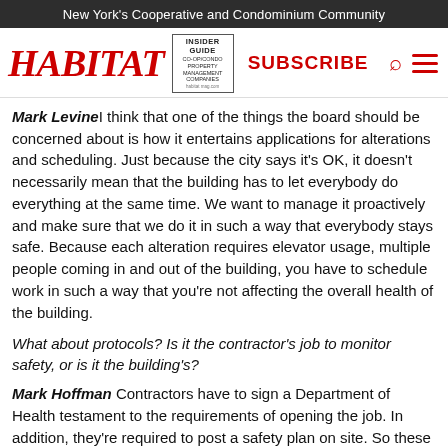New York's Cooperative and Condominium Community
[Figure (logo): Habitat magazine logo with red italic serif text 'HABITAT', an Insider Guide co-op/condo property management companies box, a red SUBSCRIBE button, search icon, and hamburger menu icon]
Mark Levine I think that one of the things the board should be concerned about is how it entertains applications for alterations and scheduling. Just because the city says it's OK, it doesn't necessarily mean that the building has to let everybody do everything at the same time. We want to manage it proactively and make sure that we do it in such a way that everybody stays safe. Because each alteration requires elevator usage, multiple people coming in and out of the building, you have to schedule work in such a way that you're not affecting the overall health of the building.
What about protocols? Is it the contractor's job to monitor safety, or is it the building's?
Mark Hoffman Contractors have to sign a Department of Health testament to the requirements of opening the job. In addition, they're required to post a safety plan on site. So these are two governmental